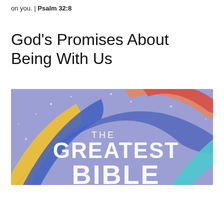on you. | Psalm 32:8
God's Promises About Being With Us
[Figure (illustration): The Greatest Bible promotional banner image with colorful arching ribbons (yellow, blue, teal, orange, red) on a purple/lavender background with white dots/stars, showing the text 'THE GREATEST BIBLE' in bold white letters]